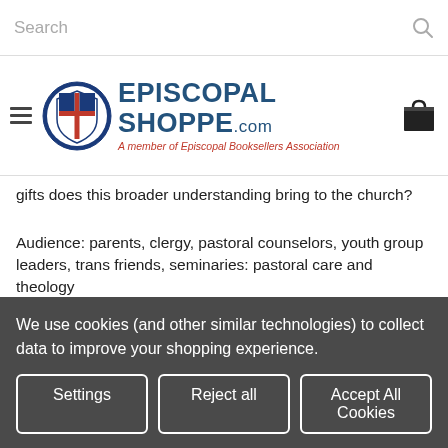Search
[Figure (logo): Episcopal Shoppe logo with circular blue and red shield emblem, site name EPISCOPAL SHOPPE.com, tagline: A member of Episcopal Booksellers Association]
gifts does this broader understanding bring to the church?
Audience: parents, clergy, pastoral counselors, youth group leaders, trans friends, seminaries: pastoral care and theology
Other Details
Product Reviews
We use cookies (and other similar technologies) to collect data to improve your shopping experience.